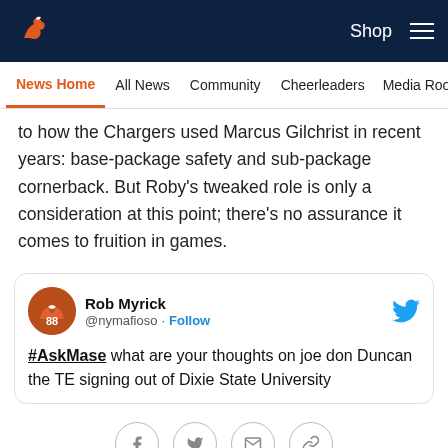Denver Broncos — Shop | Menu
News Home | All News | Community | Cheerleaders | Media Room
to how the Chargers used Marcus Gilchrist in recent years: base-package safety and sub-package cornerback. But Roby's tweaked role is only a consideration at this point; there's no assurance it comes to fruition in games.
[Figure (screenshot): Embedded tweet from Rob Myrick (@nymafioso) with Follow button and Twitter bird icon. Tweet text: '#AskMase what are your thoughts on joe don Duncan the TE signing out of Dixie State University']
Social share buttons: Facebook, Twitter, Email, Link